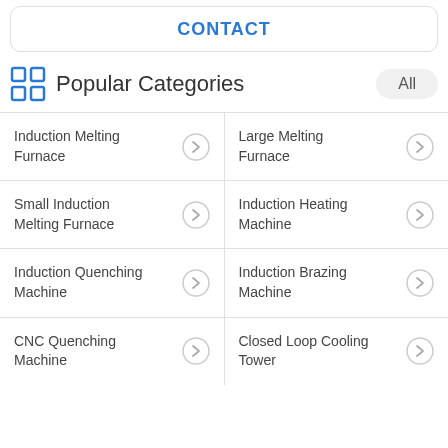CONTACT
Popular Categories
Induction Melting Furnace
Large Melting Furnace
Small Induction Melting Furnace
Induction Heating Machine
Induction Quenching Machine
Induction Brazing Machine
CNC Quenching Machine
Closed Loop Cooling Tower